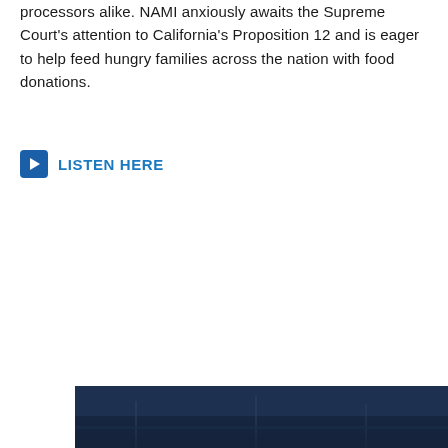processors alike. NAMI anxiously awaits the Supreme Court's attention to California's Proposition 12 and is eager to help feed hungry families across the nation with food donations.
▶ LISTEN HERE
[Figure (photo): Partial photo strip at bottom of page showing a dark outdoor or industrial scene, partially visible]